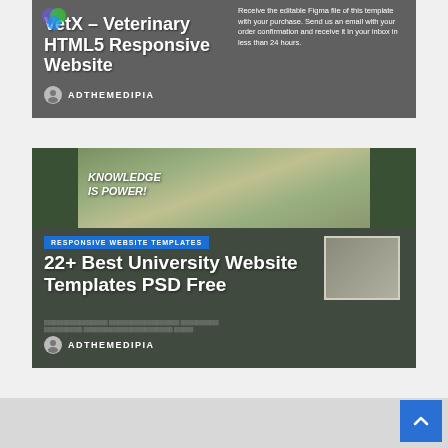[Figure (screenshot): Card showing VetX - Veterinary HTML5 Responsive Website template with gray overlay and Figma file offer text, authored by ADTHEMEDIPIA]
VetX – Veterinary HTML5 Responsive Website
Receive the editable Figma file of this template with your purchase. Send us an email with your order confirmation and receive it in your inbox in less than 24 hours.
ADTHEMEDIPIA
[Figure (screenshot): Card showing 22+ Best University Website Templates PSD Free with graduation photo background, RESPONSIVE WEBSITE TEMPLATES badge, authored by ADTHEMEDIPIA]
RESPONSIVE WEBSITE TEMPLATES
22+ Best University Website Templates PSD Free
ADTHEMEDIPIA